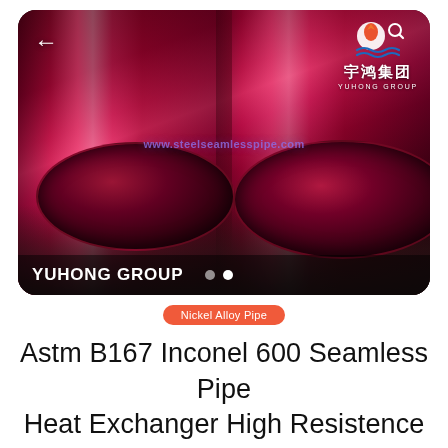[Figure (photo): Two shiny metallic dark red/magenta seamless pipes (Inconel 600) laid side by side, showing their circular open ends at the bottom. The Yuhong Group logo and Chinese characters are visible in the top right. A watermark URL 'www.steelseamlesspipe.com' is in the center. 'YUHONG GROUP' text and navigation dots appear on the bottom overlay bar.]
Nickel Alloy Pipe
Astm B167 Inconel 600 Seamless Pipe Heat Exchanger High Resistence